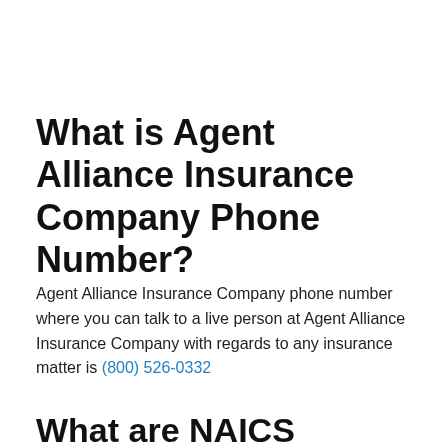What is Agent Alliance Insurance Company Phone Number?
Agent Alliance Insurance Company phone number where you can talk to a live person at Agent Alliance Insurance Company with regards to any insurance matter is (800) 526-0332
What are NAICS Codes?